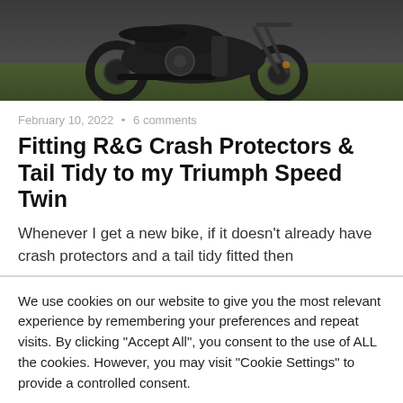[Figure (photo): Photograph of a Triumph Speed Twin motorcycle, dark/black colored, parked outdoors on grass background, seen from front-left angle showing wheel, engine and rider partial view.]
February 10, 2022 • 6 comments
Fitting R&G Crash Protectors & Tail Tidy to my Triumph Speed Twin
Whenever I get a new bike, if it doesn't already have crash protectors and a tail tidy fitted then
We use cookies on our website to give you the most relevant experience by remembering your preferences and repeat visits. By clicking "Accept All", you consent to the use of ALL the cookies. However, you may visit "Cookie Settings" to provide a controlled consent.
Cookie Settings | Accept All